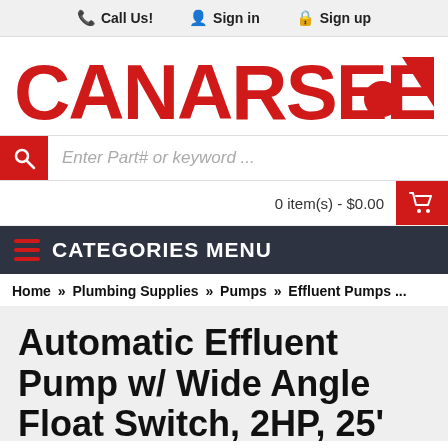Call Us!  Sign in  Sign up
[Figure (logo): Canarsee logo with red text and circular icon]
Enter Part# or keyword ...
0 item(s) - $0.00
CATEGORIES MENU
Home » Plumbing Supplies » Pumps » Effluent Pumps ...
Automatic Effluent Pump w/ Wide Angle Float Switch, 2HP, 25' cord, 208/230V